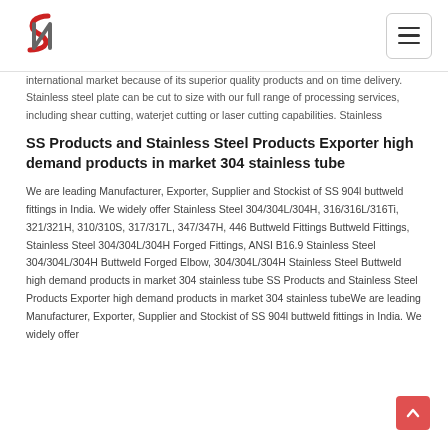Logo and navigation menu
international market because of its superior quality products and on time delivery. Stainless steel plate can be cut to size with our full range of processing services, including shear cutting, waterjet cutting or laser cutting capabilities. Stainless
SS Products and Stainless Steel Products Exporter high demand products in market 304 stainless tube
We are leading Manufacturer, Exporter, Supplier and Stockist of SS 904l buttweld fittings in India. We widely offer Stainless Steel 304/304L/304H, 316/316L/316Ti, 321/321H, 310/310S, 317/317L, 347/347H, 446 Buttweld Fittings Buttweld Fittings, Stainless Steel 304/304L/304H Forged Fittings, ANSI B16.9 Stainless Steel 304/304L/304H Buttweld Forged Elbow, 304/304L/304H Stainless Steel Buttweld high demand products in market 304 stainless tube SS Products and Stainless Steel Products Exporter high demand products in market 304 stainless tubeWe are leading Manufacturer, Exporter, Supplier and Stockist of SS 904l buttweld fittings in India. We widely offer